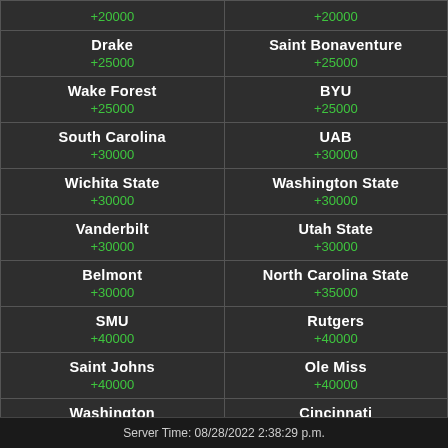| Team | Team |
| --- | --- |
| +20000 | +20000 |
| Drake
+25000 | Saint Bonaventure
+25000 |
| Wake Forest
+25000 | BYU
+25000 |
| South Carolina
+30000 | UAB
+30000 |
| Wichita State
+30000 | Washington State
+30000 |
| Vanderbilt
+30000 | Utah State
+30000 |
| Belmont
+30000 | North Carolina State
+35000 |
| SMU
+40000 | Rutgers
+40000 |
| Saint Johns
+40000 | Ole Miss
+40000 |
| Washington... | Cincinnati... |
Server Time: 08/28/2022 2:38:29 p.m.